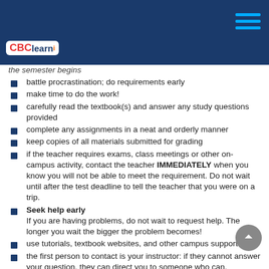CBClearn header with navigation
the semester begins (cut off)
battle procrastination; do requirements early
make time to do the work!
carefully read the textbook(s) and answer any study questions provided
complete any assignments in a neat and orderly manner
keep copies of all materials submitted for grading
if the teacher requires exams, class meetings or other on-campus activity, contact the teacher IMMEDIATELY when you know you will not be able to meet the requirement. Do not wait until after the test deadline to tell the teacher that you were on a trip.
Seek help early
If you are having problems, do not wait to request help. The longer you wait the bigger the problem becomes!
use tutorials, textbook websites, and other campus supports
the first person to contact is your instructor: if they cannot answer your question, they can direct you to someone who can.